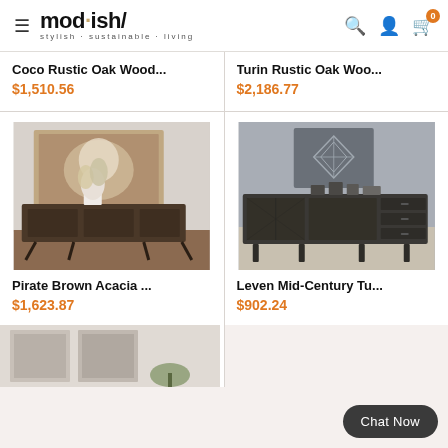mod·ish/ stylish·sustainable·living — navigation header with search, account, and cart (0) icons
Coco Rustic Oak Wood...
$1,510.56
Turin Rustic Oak Woo...
$2,186.77
[Figure (photo): Pirate Brown Acacia wood sideboard with dark tapered legs, floral arrangement on top, in a room setting]
Pirate Brown Acacia ...
$1,623.87
[Figure (photo): Leven Mid-Century dark grey sideboard with doors and drawers, decorative items on top, geometric artwork on wall behind]
Leven Mid-Century Tu...
$902.24
[Figure (photo): Partial view of another furniture product with framed wall art, partially visible at bottom of page]